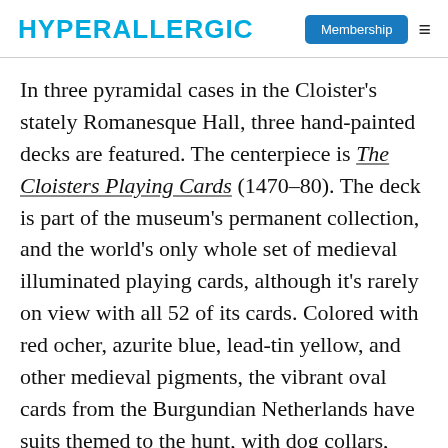HYPERALLERGIC
In three pyramidal cases in the Cloister's stately Romanesque Hall, three hand-painted decks are featured. The centerpiece is The Cloisters Playing Cards (1470–80). The deck is part of the museum's permanent collection, and the world's only whole set of medieval illuminated playing cards, although it's rarely on view with all 52 of its cards. Colored with red ocher, azurite blue, lead-tin yellow, and other medieval pigments, the vibrant oval cards from the Burgundian Netherlands have suits themed to the hunt, with dog collars, hound tethers, hunting horns, and nooses for holding game on